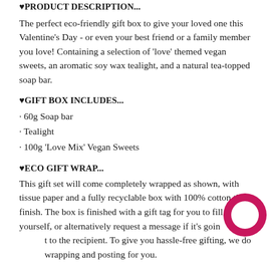♥PRODUCT DESCRIPTION...
The perfect eco-friendly gift box to give your loved one this Valentine's Day - or even your best friend or a family member you love! Containing a selection of 'love' themed vegan sweets, an aromatic soy wax tealight, and a natural tea-topped soap bar.
♥GIFT BOX INCLUDES...
· 60g Soap bar
· Tealight
· 100g 'Love Mix' Vegan Sweets
♥ECO GIFT WRAP...
This gift set will come completely wrapped as shown, with tissue paper and a fully recyclable box with 100% cotton tie to finish. The box is finished with a gift tag for you to fill in yourself, or alternatively request a message if it's going to the recipient. To give you hassle-free gifting, we do all wrapping and posting for you.